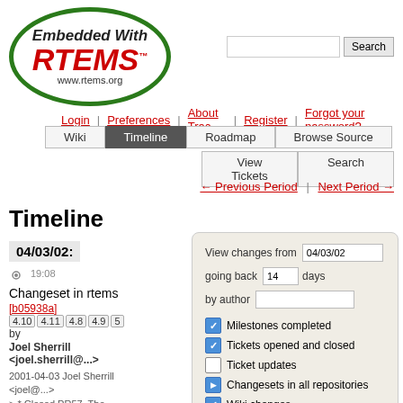[Figure (logo): RTEMS logo: oval with green border, 'Embedded With' in italic bold black, 'RTEMS' in large italic bold red with TM superscript, 'www.rtems.org' below]
Search
Login | Preferences | About Trac | Register | Forgot your password?
Wiki | Timeline | Roadmap | Browse Source | View Tickets | Search
← Previous Period | Next Period →
Timeline
04/03/02:
19:08 Changeset in rtems [b05938a] 4.10 4.11 4.8 4.9 5 by Joel Sherrill <joel.sherrill@...>
2001-04-03 Joel Sherrill <joel@...> * Closed PR57. The hack is OK as it allows a BSP to override or not at its discretion. * mpc8xx/timer/timer.c: Removed #warning declaring providing a default definition for the macros
View changes from 04/03/02 going back 14 days by author
☑ Milestones completed
☑ Tickets opened and closed
☐ Ticket updates
☑ ▶ Changesets in all repositories
☑ Wiki changes
Update